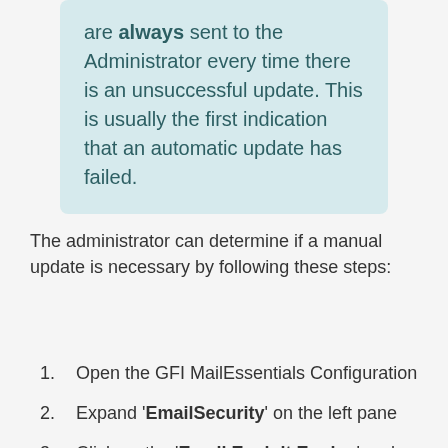are always sent to the Administrator every time there is an unsuccessful update. This is usually the first indication that an automatic update has failed.
The administrator can determine if a manual update is necessary by following these steps:
1. Open the GFI MailEssentials Configuration
2. Expand 'EmailSecurity' on the left pane
3. Click on the 'Email Exploit Engine' node on the left pane